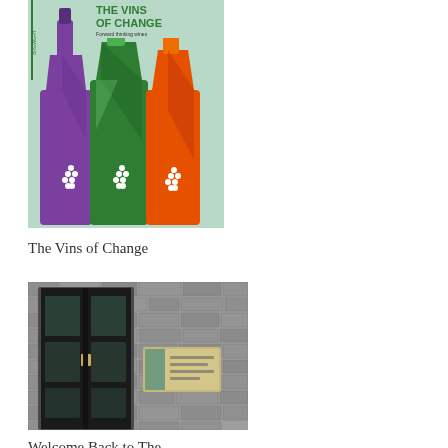[Figure (illustration): Book or poster cover titled 'The Vins of Change' with subtitle 'Forward thinking wines', showing three stylized wine bottles in purple, green, and orange/red on a light green background with white grape cluster icons. The Brewery logo is in the top left corner.]
The Vins of Change
[Figure (photo): Photograph of a black double door set in a stone brick wall, with a rectangular nameplate/sign to the right of the door. The door has decorative glass panels.]
Welcome Back to The Grubstreet Author!